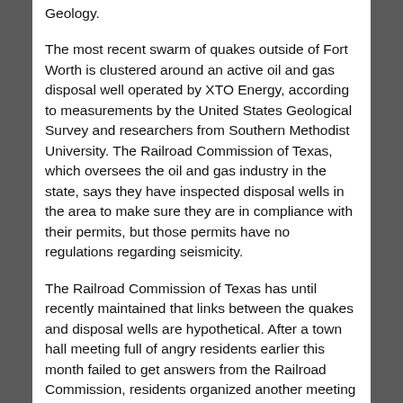Geology.
The most recent swarm of quakes outside of Fort Worth is clustered around an active oil and gas disposal well operated by XTO Energy, according to measurements by the United States Geological Survey and researchers from Southern Methodist University. The Railroad Commission of Texas, which oversees the oil and gas industry in the state, says they have inspected disposal wells in the area to make sure they are in compliance with their permits, but those permits have no regulations regarding seismicity.
The Railroad Commission of Texas has until recently maintained that links between the quakes and disposal wells are hypothetical. After a town hall meeting full of angry residents earlier this month failed to get answers from the Railroad Commission, residents organized another meeting this week and some began coordinating with environmental groups to bring their concerns to Austin. Several days after the first